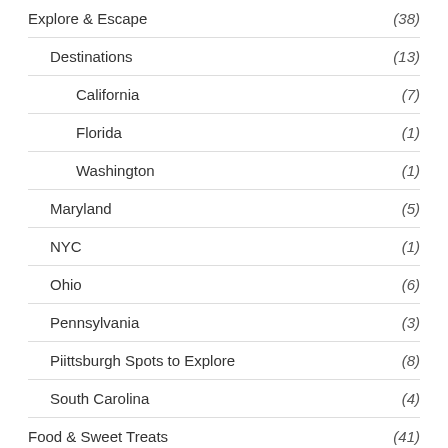Explore & Escape (38)
Destinations (13)
California (7)
Florida (1)
Washington (1)
Maryland (5)
NYC (1)
Ohio (6)
Pennsylvania (3)
Piittsburgh Spots to Explore (8)
South Carolina (4)
Food & Sweet Treats (41)